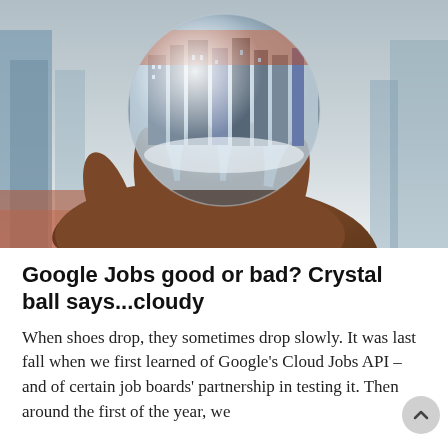[Figure (photo): A hand holding a large crystal glass ball outdoors, with a cityscape reflected upside-down inside the ball. Blurred urban background with buildings.]
Google Jobs good or bad? Crystal ball says...cloudy
When shoes drop, they sometimes drop slowly. It was last fall when we first learned of Google's Cloud Jobs API – and of certain job boards' partnership in testing it. Then around the first of the year, we